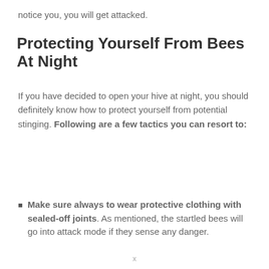notice you, you will get attacked.
Protecting Yourself From Bees At Night
If you have decided to open your hive at night, you should definitely know how to protect yourself from potential stinging. Following are a few tactics you can resort to:
Make sure always to wear protective clothing with sealed-off joints. As mentioned, the startled bees will go into attack mode if they sense any danger.
x